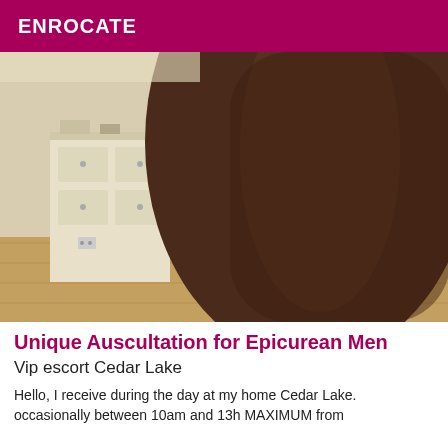ENROCATE
[Figure (photo): A close-up photo showing a person's leg and lower torso against a room background with a white dresser and wooden floor visible.]
Unique Auscultation for Epicurean Men
Vip escort Cedar Lake
Hello, I receive during the day at my home Cedar Lake. occasionally between 10am and 13h MAXIMUM from